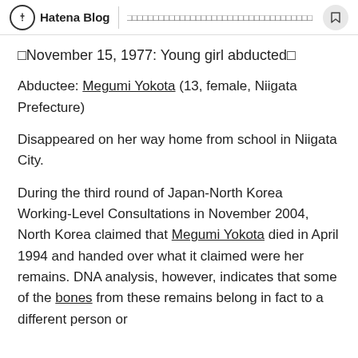Hatena Blog | □□□□□□□□□□□□□□□□□□□□□□□□□□□□□□□□□□□
□November 15, 1977: Young girl abducted□
Abductee: Megumi Yokota (13, female, Niigata Prefecture)
Disappeared on her way home from school in Niigata City.
During the third round of Japan-North Korea Working-Level Consultations in November 2004, North Korea claimed that Megumi Yokota died in April 1994 and handed over what it claimed were her remains. DNA analysis, however, indicates that some of the bones from these remains belong in fact to a different person or